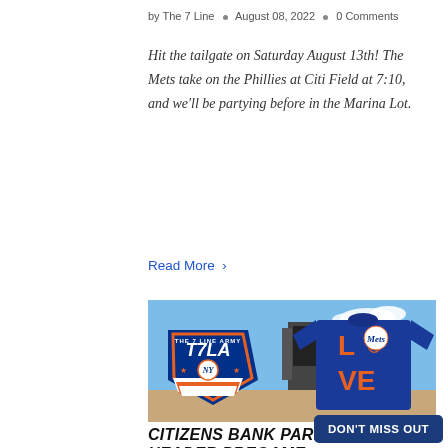by The 7 Line • August 08, 2022 • 0 Comments
Hit the tailgate on Saturday August 13th! The Mets take on the Phillies at Citi Field at 7:10, and we'll be partying before in the Marina Lot.
Read More >
[Figure (photo): Photo showing The 7 Line Army T7LA shield logo and a blue Mets LOVE t-shirt in front of the Xfinity Live venue]
CITIZENS BANK PARK D... HEAD-ER PREGAME